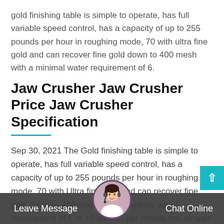gold finishing table is simple to operate, has full variable speed control, has a capacity of up to 255 pounds per hour in roughing mode, 70 with ultra fine gold and can recover fine gold down to 400 mesh with a minimal water requirement of 6.
Jaw Crusher Jaw Crusher Price Jaw Crusher Specification
Sep 30, 2021 The Gold finishing table is simple to operate, has full variable speed control, has a capacity of up to 255 pounds per hour in roughing mode, 70 with Ultra fine gold and can recover fine gold down to 400 mesh with a minimal water requirement of 6 to 10 gallons per minute.msi xtruder 255 for sale - M 012-11-3 msi xtruder 255 for sale.
Leave Message   Chat Online